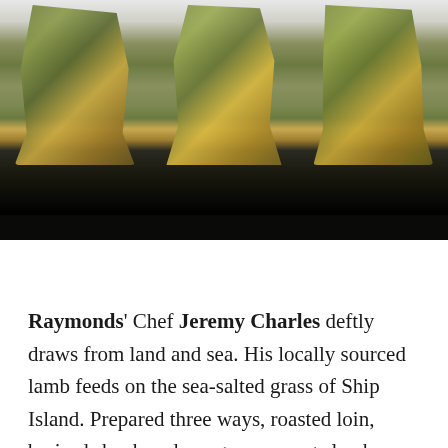[Figure (photo): Three pieces of food (lamb preparations) displayed on a white plate against a dark background, showing green and yellow-brown coloring consistent with braised or roasted meat]
Raymonds' Chef Jeremy Charles deftly draws from land and sea. His locally sourced lamb feeds on the sea-salted grass of Ship Island. Prepared three ways, roasted loin, braised shank and merguez sausage lamb-pop, reveal Charles' versatility and fun. Crisp pan-seared guilt head sea bream with roasted sweetbreads, scallops and barley risotto are harmoniously assembled flavours and textures that sing for a pairing from the sommelier. While most menus feature their own cod recipe, we crave crisp spun potato-wrapped cod